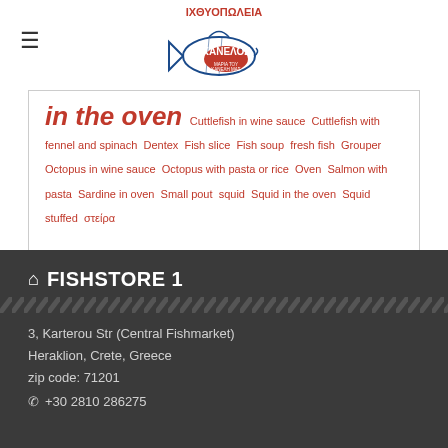[Figure (logo): ΙΧΘΥΟΠΩΛΕΙΑ ΚΑΝΕΛΟΣ fish store logo with a blue fish illustration and red oval badge]
in the oven
Cuttlefish in wine sauce  Cuttlefish with fennel and spinach  Dentex  Fish slice  Fish soup  fresh fish  Grouper  Octopus in wine sauce  Octopus with pasta or rice  Oven  Salmon with pasta  Sardine in oven  Small pout  squid  Squid in the oven  Squid stuffed  στείρα
FISHSTORE 1
3, Karterou Str (Central Fishmarket)
Heraklion, Crete, Greece
zip code: 71201
+30 2810 286275